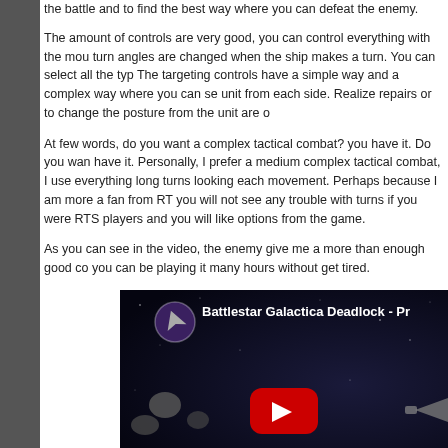the battle and to find the best way where you can defeat the enemy.
The amount of controls are very good, you can control everything with the mou turn angles are changed when the ship makes a turn. You can select all the typ The targeting controls have a simple way and a complex way where you can se unit from each side. Realize repairs or to change the posture from the unit are o
At few words, do you want a complex tactical combat? you have it. Do you wan have it. Personally, I prefer a medium complex tactical combat, I use everything long turns looking each movement. Perhaps because I am more a fan from RT you will not see any trouble with turns if you were RTS players and you will like options from the game.
As you can see in the video, the enemy give me a more than enough good co you can be playing it many hours without get tired.
[Figure (screenshot): YouTube video embed showing Battlestar Galactica Deadlock gameplay with spacecraft and asteroids in space, with a red YouTube play button in the center.]